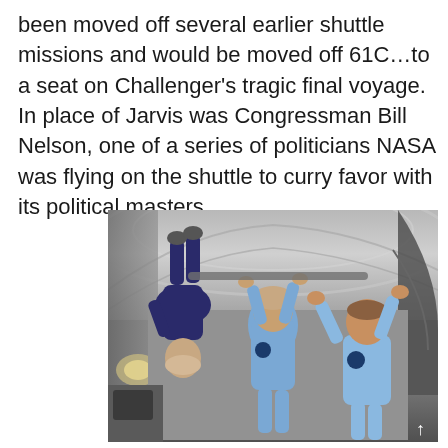been moved off several earlier shuttle missions and would be moved off 61C…to a seat on Challenger's tragic final voyage. In place of Jarvis was Congressman Bill Nelson, one of a series of politicians NASA was flying on the shuttle to curry favor with its political masters.
[Figure (photo): Three people in blue flight suits floating/hanging inside what appears to be a zero-gravity training aircraft. The interior is metallic silver. One person on the left is inverted, two others are upright holding onto overhead bars.]